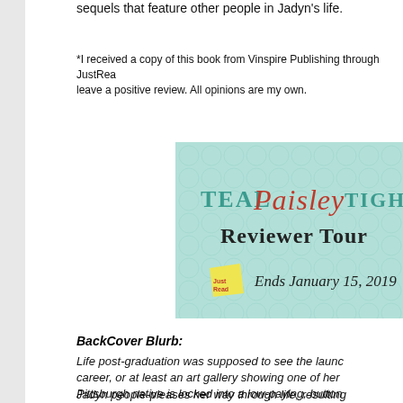sequels that feature other people in Jadyn's life.
*I received a copy of this book from Vinspire Publishing through JustRead leave a positive review. All opinions are my own.
[Figure (illustration): Teal Paisley Tights Reviewer Tour banner with a teal/mint bubblewrap background, displaying 'TEAL Paisley TIGHTS' in mixed fonts (teal serif caps and red handwritten style), 'Reviewer Tour' in black, a yellow JustRead sticky note badge, and 'Ends January 15, 2019' text.]
BackCover Blurb:
Life post-graduation was supposed to see the launch career, or at least an art gallery showing one of her Pittsburgh native is locked into a low-paying, buttoned impossible boss. When another colleague is dismissed including the company's biggest client. If she loses h
Jadyn people-pleases her way through life, resulting community classroom of art students. But when two